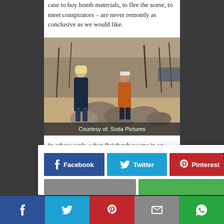case to buy bomb materials, to flee the scene, to meet conspirators – are never remotely as conclusive as we would like.
[Figure (photo): Two people standing outdoors among large rocks with bare trees in background. One person in a dark coat, another in an orange jacket with a cap.]
Courtesy of: Soda Pictures
In other words, when Reichardt zooms in on
[Figure (infographic): Social share overlay with Facebook, Twitter, Pinterest buttons and a close button, plus partial second row of share buttons.]
[Figure (infographic): Bottom share bar with Facebook, Twitter, Pinterest, Email, and WhatsApp buttons.]